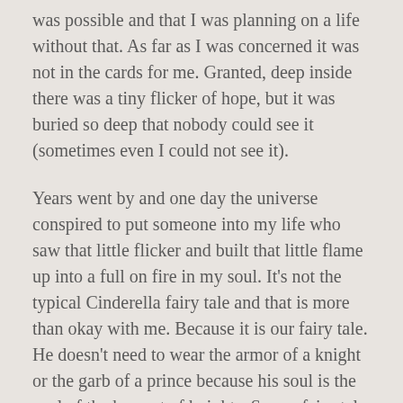was possible and that I was planning on a life without that. As far as I was concerned it was not in the cards for me. Granted, deep inside there was a tiny flicker of hope, but it was buried so deep that nobody could see it (sometimes even I could not see it).
Years went by and one day the universe conspired to put someone into my life who saw that little flicker and built that little flame up into a full on fire in my soul. It's not the typical Cinderella fairy tale and that is more than okay with me. Because it is our fairy tale. He doesn't need to wear the armor of a knight or the garb of a prince because his soul is the soul of the bravest of knights. So my fairy tale consists of random Disney adventures, wandering book stores, eating delicious cheeseburgers, holding hands at every moment we can, and having silly and